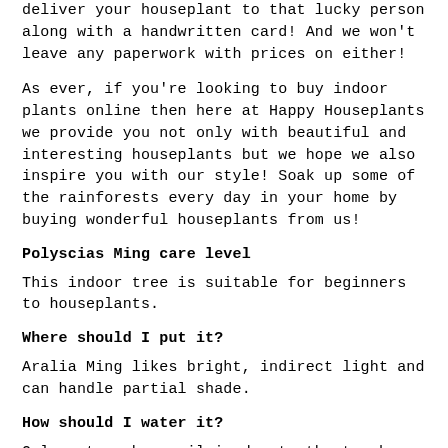deliver your houseplant to that lucky person along with a handwritten card! And we won't leave any paperwork with prices on either!
As ever, if you're looking to buy indoor plants online then here at Happy Houseplants we provide you not only with beautiful and interesting houseplants but we hope we also inspire you with our style! Soak up some of the rainforests every day in your home by buying wonderful houseplants from us!
Polyscias Ming care level
This indoor tree is suitable for beginners to houseplants.
Where should I put it?
Aralia Ming likes bright, indirect light and can handle partial shade.
How should I water it?
Only water when soil is dry to the touch.